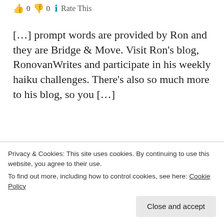0  0  Rate This
[…] prompt words are provided by Ron and they are Bridge & Move. Visit Ron's blog, RonovanWrites and participate in his weekly haiku challenges. There's also so much more to his blog, so you […]
★ Like
A Tip from a Bartender | The Aran Artisan
Privacy & Cookies: This site uses cookies. By continuing to use this website, you agree to their use. To find out more, including how to control cookies, see here: Cookie Policy
Close and accept
this week are Stag & Noise. […]